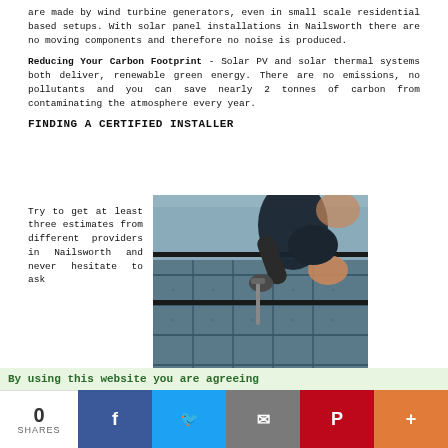are made by wind turbine generators, even in small scale residential based setups. With solar panel installations in Nailsworth there are no moving components and therefore no noise is produced.
Reducing Your Carbon Footprint - Solar PV and solar thermal systems both deliver, renewable green energy. There are no emissions, no pollutants and you can save nearly 2 tonnes of carbon from contaminating the atmosphere every year.
FINDING A CERTIFIED INSTALLER
Try to get at least three estimates from different providers in Nailsworth and never hesitate to ask
[Figure (photo): Person installing solar panels on a roof, using a wrench/screwdriver tool, wearing gloves and dark clothing]
By using this website you are agreeing
0 SHARES
Facebook share, Twitter share, Email share, Pinterest share, More share buttons